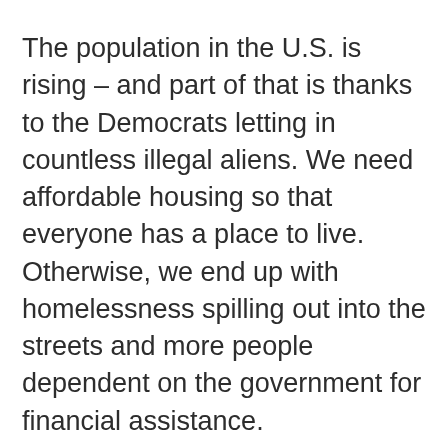The population in the U.S. is rising – and part of that is thanks to the Democrats letting in countless illegal aliens. We need affordable housing so that everyone has a place to live. Otherwise, we end up with homelessness spilling out into the streets and more people dependent on the government for financial assistance.
Homebuilders are trying to help the situation. In every state, there are home builders creating entire communities so that families have a home to buy. Generated by Feedzy